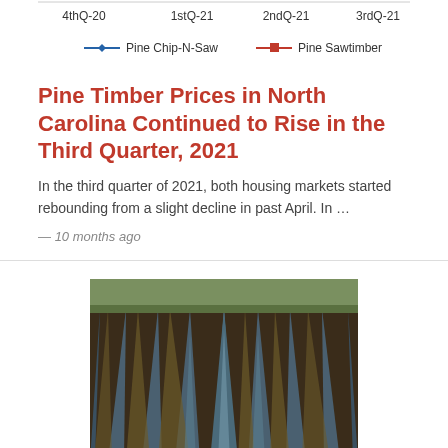[Figure (line-chart): Partial line chart showing Pine Chip-N-Saw and Pine Sawtimber prices across 4thQ-20, 1stQ-21, 2ndQ-21, 3rdQ-21]
Pine Timber Prices in North Carolina Continued to Rise in the Third Quarter, 2021
In the third quarter of 2021, both housing markets started rebounding from a slight decline in past April. In …
— 10 months ago
[Figure (photo): Aerial view of a wet agricultural field with rows and furrows, water pooling between rows, muddy conditions]